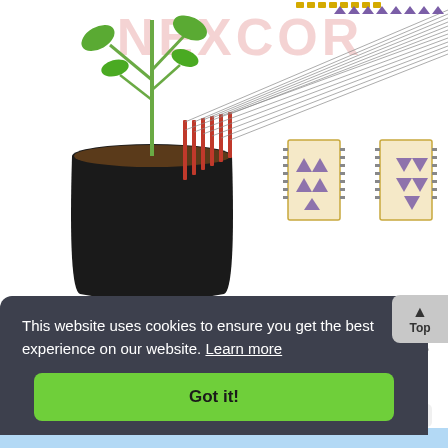[Figure (schematic): Engineering schematic showing a plant in a pot connected to LED indicators and digital integrated circuit boards. The diagram shows wiring from soil moisture sensors to a series of LEDs and two IC board components on the right side.]
A series of LEDs serve to alert the gardener when plants need water. Using two conventional digital integrated LEDs and a series of LEDs, we make a very useful device for gardening. The device detects the amount of water in the pot and alerts the grower.....
This website uses cookies to ensure you get the best experience on our website. Learn more
Got it!